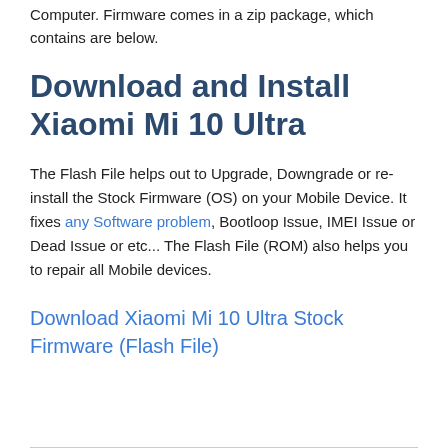Computer. Firmware comes in a zip package, which contains are below.
Download and Install Xiaomi Mi 10 Ultra
The Flash File helps out to Upgrade, Downgrade or re-install the Stock Firmware (OS) on your Mobile Device. It fixes any Software problem, Bootloop Issue, IMEI Issue or Dead Issue or etc... The Flash File (ROM) also helps you to repair all Mobile devices.
Download Xiaomi Mi 10 Ultra Stock Firmware (Flash File)